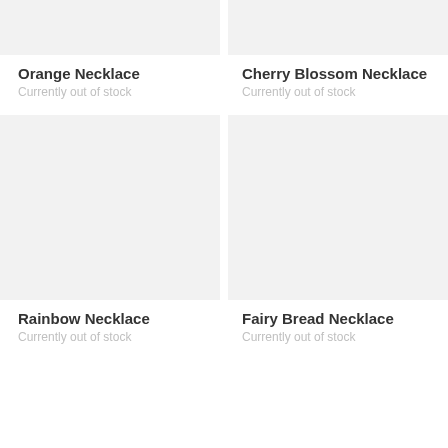[Figure (other): Product image placeholder for Orange Necklace (light gray box)]
Orange Necklace
Currently out of stock
[Figure (other): Product image placeholder for Cherry Blossom Necklace (light gray box)]
Cherry Blossom Necklace
Currently out of stock
[Figure (other): Product image placeholder for Rainbow Necklace (light gray box)]
Rainbow Necklace
Currently out of stock
[Figure (other): Product image placeholder for Fairy Bread Necklace (light gray box)]
Fairy Bread Necklace
Currently out of stock